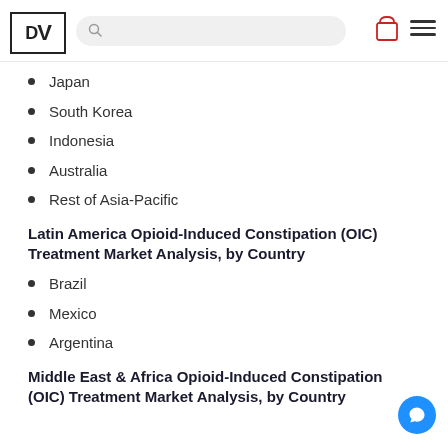DV [logo with search bar, cart, and hamburger menu]
Japan
South Korea
Indonesia
Australia
Rest of Asia-Pacific
Latin America Opioid-Induced Constipation (OIC) Treatment Market Analysis, by Country
Brazil
Mexico
Argentina
Middle East & Africa Opioid-Induced Constipation (OIC) Treatment Market Analysis, by Country